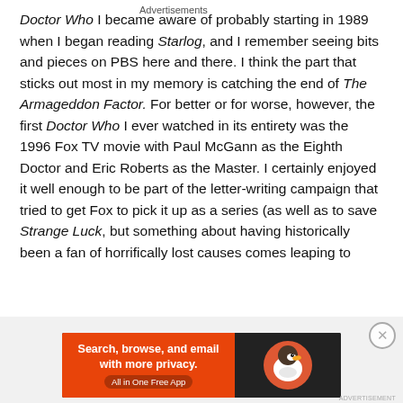Doctor Who I became aware of probably starting in 1989 when I began reading Starlog, and I remember seeing bits and pieces on PBS here and there. I think the part that sticks out most in my memory is catching the end of The Armageddon Factor. For better or for worse, however, the first Doctor Who I ever watched in its entirety was the 1996 Fox TV movie with Paul McGann as the Eighth Doctor and Eric Roberts as the Master. I certainly enjoyed it well enough to be part of the letter-writing campaign that tried to get Fox to pick it up as a series (as well as to save Strange Luck, but something about having historically been a fan of horrifically lost causes comes leaping to
Advertisements
[Figure (screenshot): DuckDuckGo advertisement banner: orange left panel with text 'Search, browse, and email with more privacy. All in One Free App' and dark right panel with DuckDuckGo duck logo]